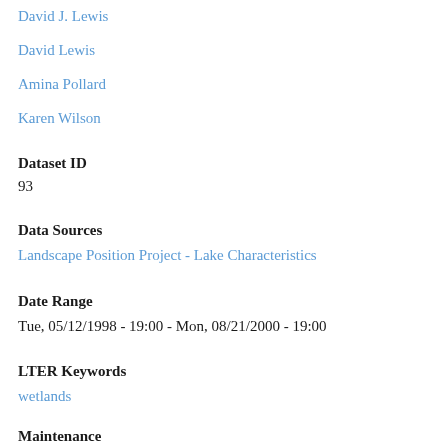David J. Lewis
David Lewis
Amina Pollard
Karen Wilson
Dataset ID
93
Data Sources
Landscape Position Project - Lake Characteristics
Date Range
Tue, 05/12/1998 - 19:00 - Mon, 08/21/2000 - 19:00
LTER Keywords
wetlands
Maintenance